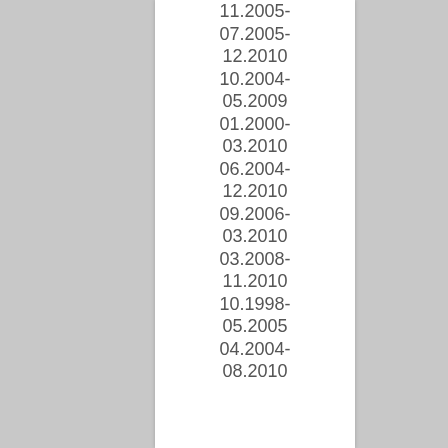11.2005- 07.2005- 12.2010 10.2004- 05.2009 01.2000- 03.2010 06.2004- 12.2010 09.2006- 03.2010 03.2008- 11.2010 10.1998- 05.2005 04.2004- 08.2010